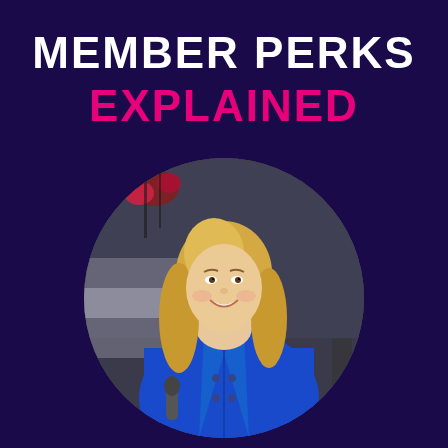MEMBER PERKS EXPLAINED
[Figure (photo): Circular cropped photo of a smiling blonde woman wearing a royal blue blazer, holding a microphone, with a blurred indoor background featuring decorative elements.]